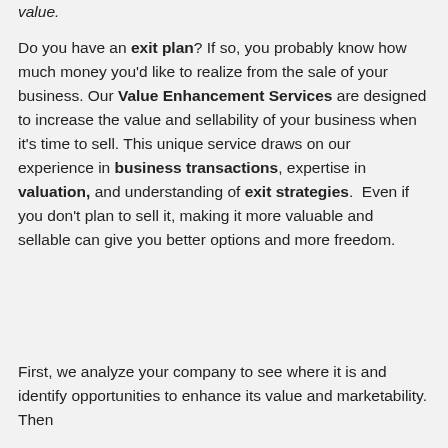value.
Do you have an exit plan? If so, you probably know how much money you'd like to realize from the sale of your business. Our Value Enhancement Services are designed to increase the value and sellability of your business when it's time to sell. This unique service draws on our experience in business transactions, expertise in valuation, and understanding of exit strategies.  Even if you don't plan to sell it, making it more valuable and sellable can give you better options and more freedom.
First, we analyze your company to see where it is and identify opportunities to enhance its value and marketability. Then